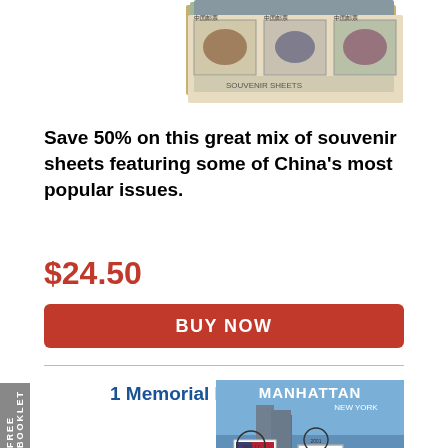[Figure (photo): Chinese souvenir sheets featuring popular stamp issues with animals and cultural imagery]
Save 50% on this great mix of souvenir sheets featuring some of China's most popular issues.
$24.50
BUY NOW
1 Memorial Postcard
[Figure (photo): Manhattan New York postcard with stamps showing the Twin Towers and American flag, postmarked]
er 21 years, we still remember and honor the heroes, ims, and all those impacted by the events of September 11, 2001.